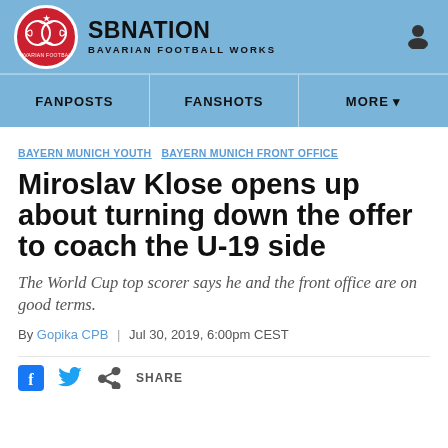SBNATION BAVARIAN FOOTBALL WORKS
FANPOSTS  FANSHOTS  MORE
BAYERN MUNICH YOUTH  BAYERN MUNICH FRONT OFFICE
Miroslav Klose opens up about turning down the offer to coach the U-19 side
The World Cup top scorer says he and the front office are on good terms.
By Gopika CPB | Jul 30, 2019, 6:00pm CEST
SHARE